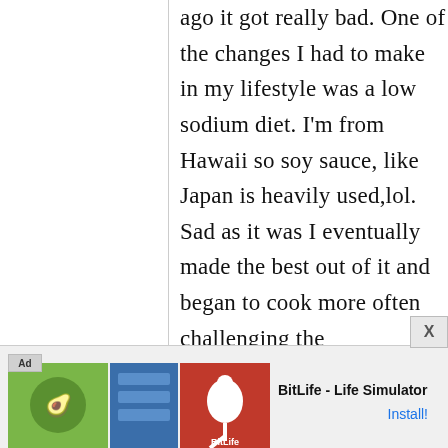ago it got really bad. One of the changes I had to make in my lifestyle was a low sodium diet. I'm from Hawaii so soy sauce, like Japan is heavily used,lol. Sad as it was I eventually made the best out of it and began to cook more often challenging the
[Figure (other): Advertisement banner for BitLife - Life Simulator mobile app, with green, blue, and red app icon images on the left, the app name 'BitLife - Life Simulator' in the center, and an 'Install!' button on the right. An 'Ad' label is shown in the top-left corner. A close button marked 'X' appears above the right side of the ad.]